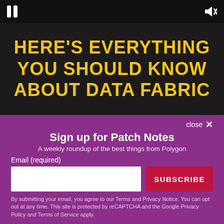[Figure (screenshot): Video player with dark background showing pause and mute controls at top]
HERE'S EVERYTHING YOU SHOULD KNOW ABOUT DATA FABRIC
close ✕
Sign up for Patch Notes
A weekly roundup of the best things from Polygon
Email (required)
SUBSCRIBE
By submitting your email, you agree to our Terms and Privacy Notice. You can opt out at any time. This site is protected by reCAPTCHA and the Google Privacy Policy and Terms of Service apply.